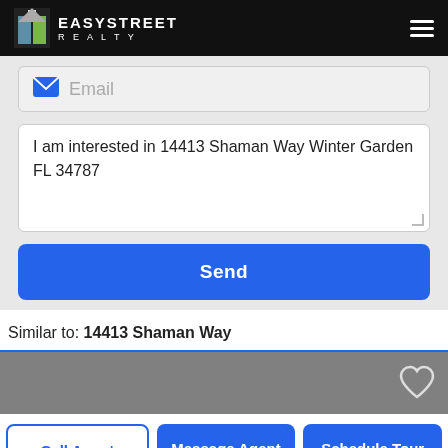EasyStreet Realty
Email
I am interested in 14413 Shaman Way Winter Garden FL 34787
Send
Similar to: 14413 Shaman Way
[Figure (other): Gray listing card thumbnail strip with heart/favorite icon]
Call Agent | Message Agent | Schedule Tour